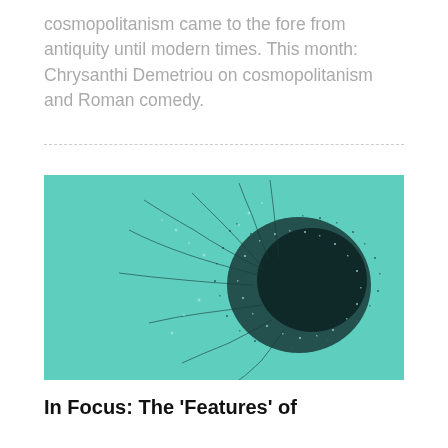cosmopolitanism came to the fore from antiquity until modern times. This month: Chrysanthi Demetriou on cosmopolitanism and Roman comedy.
[Figure (illustration): Abstract illustration on a teal/turquoise background showing a dark, dense network or burst of particles and thin curving lines radiating outward from a central mass, resembling a dandelion or network graph visualization.]
In Focus: The 'Features' of